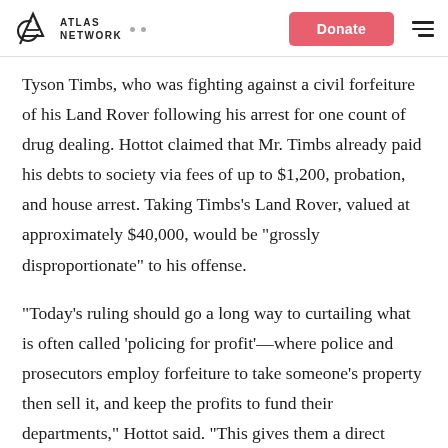Atlas Network | Donate
Tyson Timbs, who was fighting against a civil forfeiture of his Land Rover following his arrest for one count of drug dealing. Hottot claimed that Mr. Timbs already paid his debts to society via fees of up to $1,200, probation, and house arrest. Taking Timbs’s Land Rover, valued at approximately $40,000, would be “grossly disproportionate” to his offense.
“Today’s ruling should go a long way to curtailing what is often called ‘policing for profit’—where police and prosecutors employ forfeiture to take someone’s property then sell it, and keep the profits to fund their departments,” Hottot said. “This gives them a direct